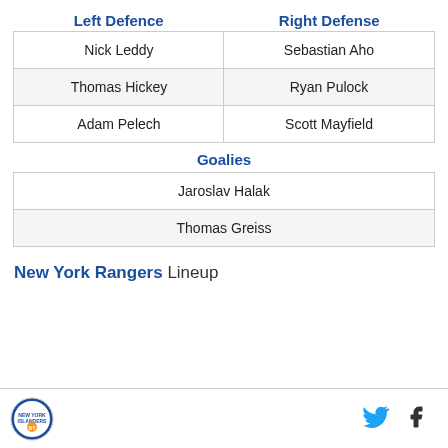Left Defence
Right Defense
| Left Defence | Right Defense |
| --- | --- |
| Nick Leddy | Sebastian Aho |
| Thomas Hickey | Ryan Pulock |
| Adam Pelech | Scott Mayfield |
Goalies
| Jaroslav Halak |
| Thomas Greiss |
New York Rangers Lineup
[Figure (logo): New York Islanders circular team logo]
[Figure (illustration): Twitter bird icon]
[Figure (illustration): Facebook f icon]